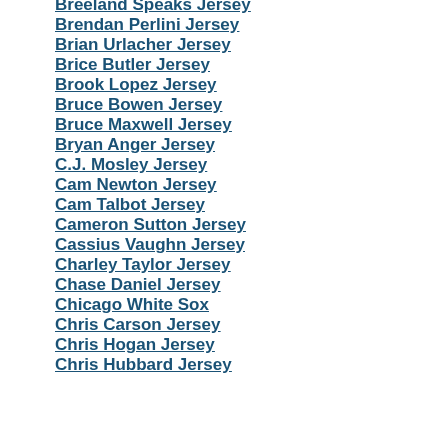Breeland Speaks Jersey
Brendan Perlini Jersey
Brian Urlacher Jersey
Brice Butler Jersey
Brook Lopez Jersey
Bruce Bowen Jersey
Bruce Maxwell Jersey
Bryan Anger Jersey
C.J. Mosley Jersey
Cam Newton Jersey
Cam Talbot Jersey
Cameron Sutton Jersey
Cassius Vaughn Jersey
Charley Taylor Jersey
Chase Daniel Jersey
Chicago White Sox
Chris Carson Jersey
Chris Hogan Jersey
Chris Hubbard Jersey